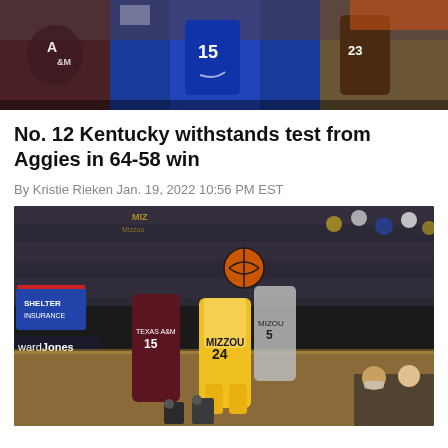[Figure (photo): Basketball game photo at top of page showing players in maroon/white (Texas A&M) and blue/white (Kentucky) uniforms during game action with crowd in background]
No. 12 Kentucky withstands test from Aggies in 64-58 win
By Kristie Rieken Jan. 19, 2022 10:56 PM EST
[Figure (photo): Basketball game photo showing Missouri player #24 in gold/white Mizzou uniform chasing ball with Texas A&M player #15 in maroon behind him, Mizzou #5 in background, indoor arena with Shelter Insurance and Edward Jones signage visible along with crowd]